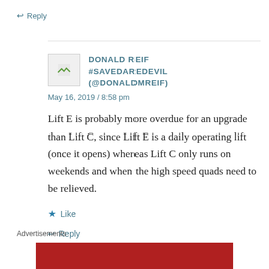↩ Reply
DONALD REIF #SAVEDAREDEVIL (@DONALDMREIF)
May 16, 2019 / 8:58 pm
Lift E is probably more overdue for an upgrade than Lift C, since Lift E is a daily operating lift (once it opens) whereas Lift C only runs on weekends and when the high speed quads need to be relieved.
★ Like
↩ Reply
Advertisements